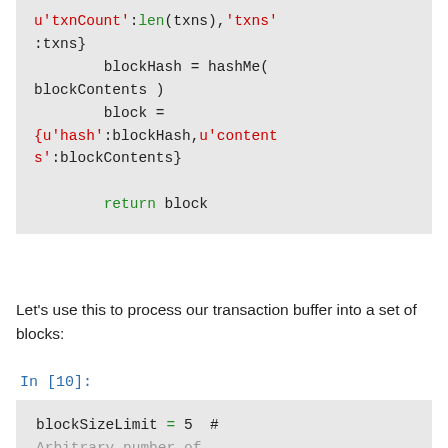[Figure (screenshot): Code block showing Python code: u'txnCount':len(txns),'txns':txns} blockHash = hashMe(blockContents) block = {u'hash':blockHash,u'contents':blockContents} return block]
Let's use this to process our transaction buffer into a set of blocks:
In [10]:
[Figure (screenshot): Code block showing: blockSizeLimit = 5  # Arbitrary number of]